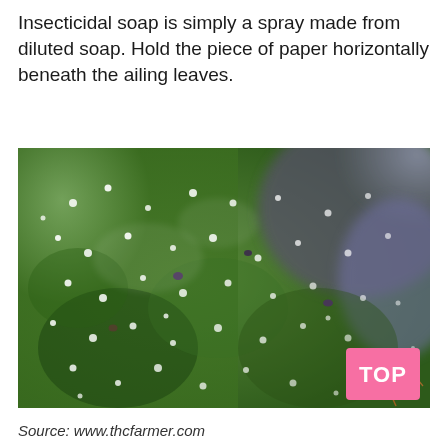Insecticidal soap is simply a spray made from diluted soap. Hold the piece of paper horizontally beneath the ailing leaves.
[Figure (photo): Close-up macro photograph of a green cannabis plant bud covered with white trichomes and small mites/insects visible on the surface. A pink 'TOP' badge appears in the bottom-right corner of the image.]
Source: www.thcfarmer.com